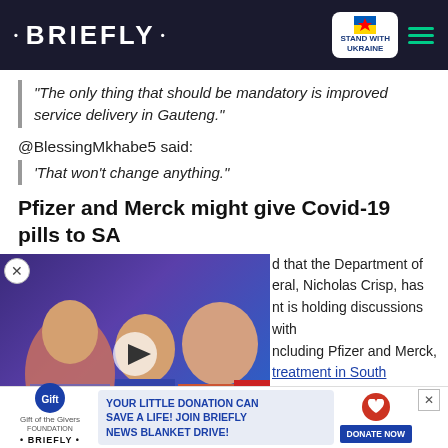• BRIEFLY •
"The only thing that should be mandatory is improved service delivery in Gauteng."
@BlessingMkhabe5 said:
'That won't change anything."
Pfizer and Merck might give Covid-19 pills to SA
d that the Department of eral, Nicholas Crisp, has nt is holding discussions with ncluding Pfizer and Merck, treatment in South
[Figure (screenshot): Video thumbnail showing TV show characters with overlay text 'ARE NEW REPORTS REAL?']
YOUR LITTLE DONATION CAN SAVE A LIFE! JOIN BRIEFLY NEWS BLANKET DRIVE!
DONATE NOW